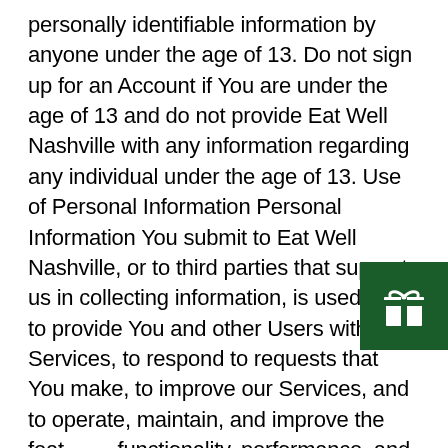personally identifiable information by anyone under the age of 13. Do not sign up for an Account if You are under the age of 13 and do not provide Eat Well Nashville with any information regarding any individual under the age of 13. Use of Personal Information Personal Information You submit to Eat Well Nashville, or to third parties that support us in collecting information, is used by us to provide You and other Users with the Services, to respond to requests that You make, to improve our Services, and to operate, maintain, and improve the features, functionality, performance, and support of the Services. Eat Well Nashville uses the Personal Information that it gathers about You for the following purposes: To provide
[Figure (other): Dark green square icon with a white gift/present symbol (bow on top of box)]